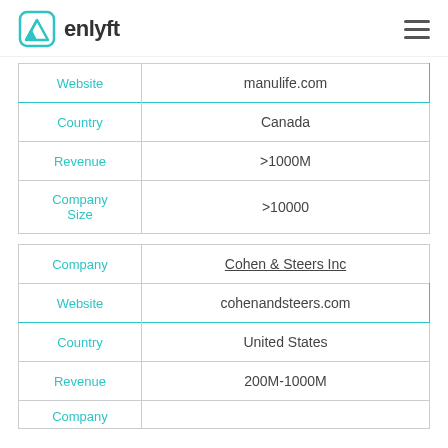enlyft
| Label | Value |
| --- | --- |
| Website | manulife.com |
| Country | Canada |
| Revenue | >1000M |
| Company Size | >10000 |
| Label | Value |
| --- | --- |
| Company | Cohen & Steers Inc |
| Website | cohenandsteers.com |
| Country | United States |
| Revenue | 200M-1000M |
| Company |  |